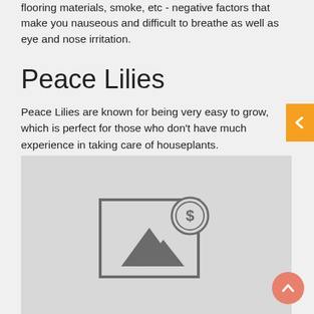flooring materials, smoke, etc - negative factors that make you nauseous and difficult to breathe as well as eye and nose irritation.
Peace Lilies
Peace Lilies are known for being very easy to grow, which is perfect for those who don't have much experience in taking care of houseplants.
[Figure (illustration): Placeholder image with a landscape/mountain icon and a dollar coin symbol overlay]